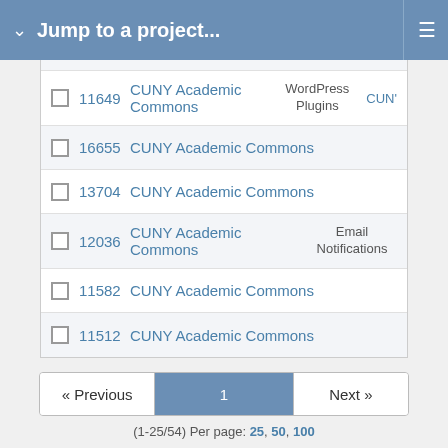Jump to a project...
|  | ID | Project | Category |  |
| --- | --- | --- | --- | --- |
|  | 11649 | CUNY Academic Commons | WordPress Plugins | CUN' |
|  | 16655 | CUNY Academic Commons |  |  |
|  | 13704 | CUNY Academic Commons |  |  |
|  | 12036 | CUNY Academic Commons | Email Notifications |  |
|  | 11582 | CUNY Academic Commons |  |  |
|  | 11512 | CUNY Academic Commons |  |  |
« Previous   1   Next »
(1-25/54) Per page: 25, 50, 100